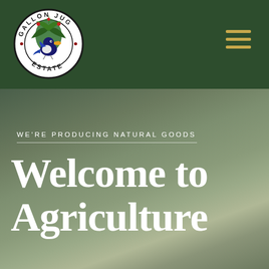[Figure (logo): Gallon Jug Estate circular logo with a bird and tropical foliage on a white background with black circular border text reading GALLON JUG ESTATE]
WE'RE PRODUCING NATURAL GOODS
Welcome to Agriculture